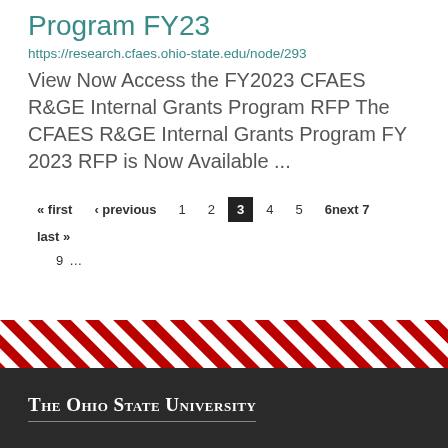Program FY23
https://research.cfaes.ohio-state.edu/node/293
View Now Access the FY2023 CFAES R&GE Internal Grants Program RFP The CFAES R&GE Internal Grants Program FY 2023 RFP is Now Available ...
« first  ‹ previous  1  2  3  4  5  6next 7  last »  9  ...
[Figure (other): Diagonal red and white striped decorative band]
The Ohio State University